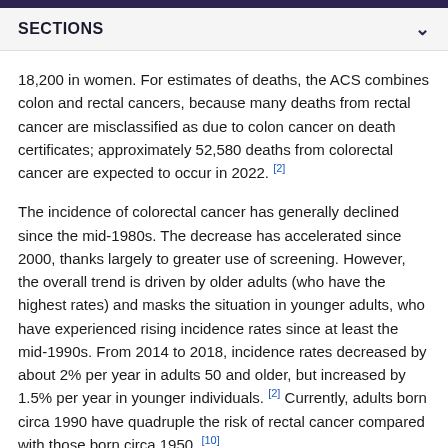SECTIONS
18,200 in women. For estimates of deaths, the ACS combines colon and rectal cancers, because many deaths from rectal cancer are misclassified as due to colon cancer on death certificates; approximately 52,580 deaths from colorectal cancer are expected to occur in 2022. [2]
The incidence of colorectal cancer has generally declined since the mid-1980s. The decrease has accelerated since 2000, thanks largely to greater use of screening. However, the overall trend is driven by older adults (who have the highest rates) and masks the situation in younger adults, who have experienced rising incidence rates since at least the mid-1990s. From 2014 to 2018, incidence rates decreased by about 2% per year in adults 50 and older, but increased by 1.5% per year in younger individuals. [2] Currently, adults born circa 1990 have quadruple the risk of rectal cancer compared with those born circa 1950. [10]
The overall incidence of rectal cancer...